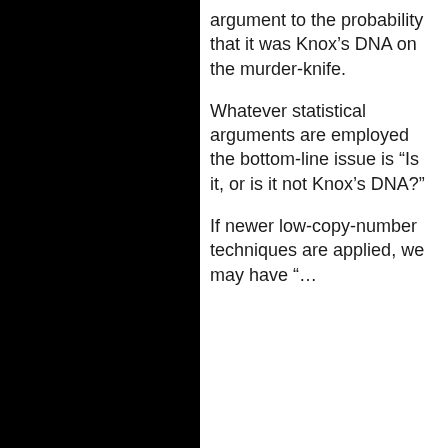argument to the probability that it was Knox’s DNA on the murder-knife.
Whatever statistical arguments are employed the bottom-line issue is “Is it, or is it not Knox’s DNA?”
If newer low-copy-number techniques are applied, we may have “…